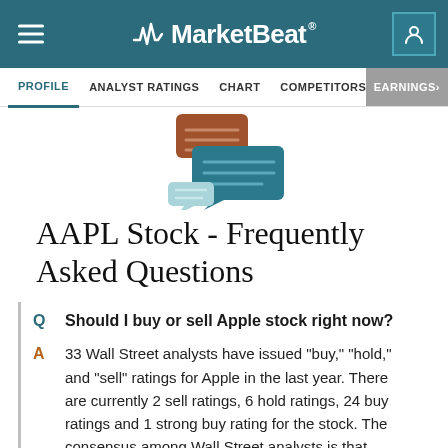MarketBeat
PROFILE  ANALYST RATINGS  CHART  COMPETITORS  DIVIDEND  EARNINGS
[Figure (illustration): Three overlapping speech/chat bubble icons in brown, teal, and light teal colors representing FAQ or Q&A]
AAPL Stock - Frequently Asked Questions
Q  Should I buy or sell Apple stock right now?
A  33 Wall Street analysts have issued "buy," "hold," and "sell" ratings for Apple in the last year. There are currently 2 sell ratings, 6 hold ratings, 24 buy ratings and 1 strong buy rating for the stock. The consensus among Wall Street analysts is that investors should "buy" AAPL